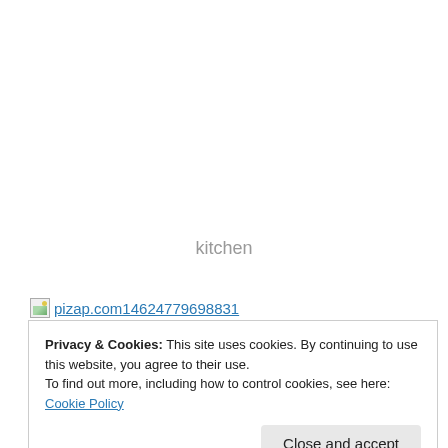kitchen
[Figure (photo): Broken image icon followed by hyperlink text: pizap.com14624779698831]
Privacy & Cookies: This site uses cookies. By continuing to use this website, you agree to their use.
To find out more, including how to control cookies, see here:
Cookie Policy

Close and accept